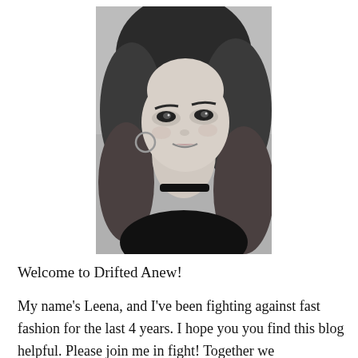[Figure (photo): Black and white portrait photo of a young woman with long wavy hair, wearing a choker necklace, smiling slightly at the camera]
Welcome to Drifted Anew!
My name's Leena, and I've been fighting against fast fashion for the last 4 years. I hope you you find this blog helpful. Please join me in fight! Together we